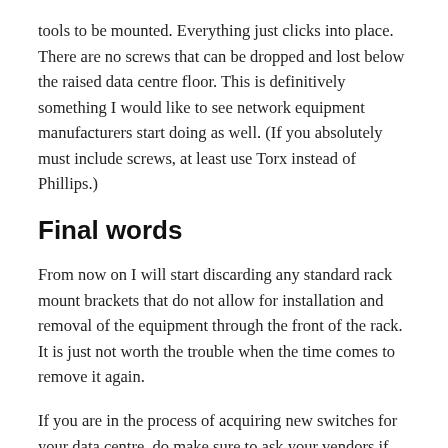tools to be mounted. Everything just clicks into place. There are no screws that can be dropped and lost below the raised data centre floor. This is definitively something I would like to see network equipment manufacturers start doing as well. (If you absolutely must include screws, at least use Torx instead of Phillips.)
Final words
From now on I will start discarding any standard rack mount brackets that do not allow for installation and removal of the equipment through the front of the rack. It is just not worth the trouble when the time comes to remove it again.
If you are in the process of acquiring new switches for your data centre, do make sure to ask your vendors if their switches come with sensible rack mount brackets. Perhaps if enough customers ask, they will actually improve